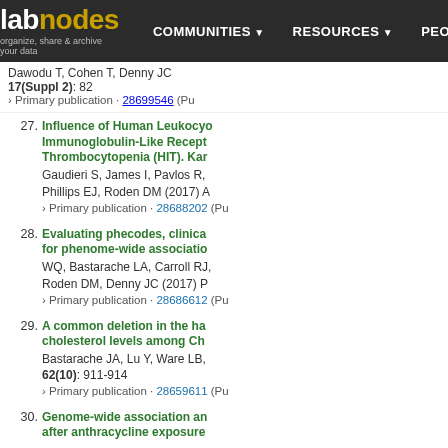labnodes — organize, share & archive your data | COMMUNITIES | RESOURCES | PEOPLE
Dawodu T, Cohen T, Denny JC 17(Suppl 2): 82 › Primary publication · 28699546 (Pu
27. Influence of Human Leukocyte Antigen Immunoglobulin-Like Receptor Thrombocytopenia (HIT). Kan Gaudieri S, James I, Pavlos R, Phillips EJ, Roden DM (2017) › Primary publication · 28688202 (Pu
28. Evaluating phecodes, clinical for phenome-wide association WQ, Bastarache LA, Carroll RJ, Roden DM, Denny JC (2017) P › Primary publication · 28686612 (Pu
29. A common deletion in the ha cholesterol levels among Ch Bastarache JA, Lu Y, Ware LB, 62(10): 911-914 › Primary publication · 28659611 (Pu
30. Genome-wide association an after anthracycline exposure